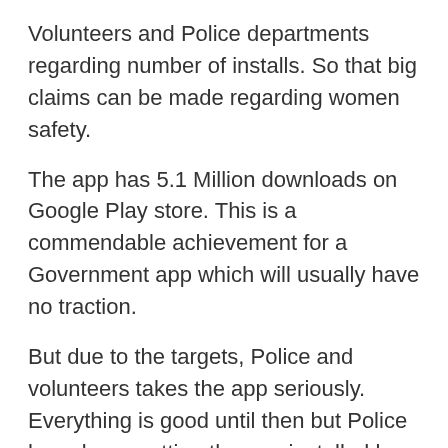Volunteers and Police departments regarding number of installs. So that big claims can be made regarding women safety.
The app has 5.1 Million downloads on Google Play store. This is a commendable achievement for a Government app which will usually have no traction.
But due to the targets, Police and volunteers takes the app seriously. Everything is good until then but Police have been getting the app installed by Gents to increase the installs.
It is usual ritual in Police checking in Andhra Pradesh. The defaulters and no defaulters will not be allowed to go unless they install Disha app.
Social media is full of stories about how males are harassed to install the app. This is the commitment